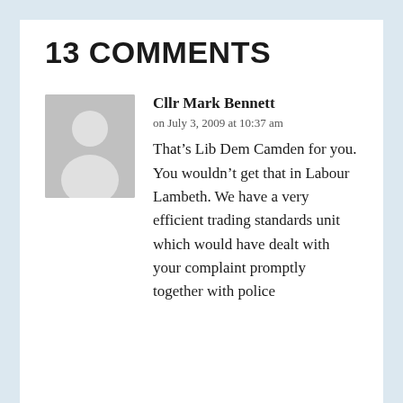13 COMMENTS
Cllr Mark Bennett
on July 3, 2009 at 10:37 am
That’s Lib Dem Camden for you. You wouldn’t get that in Labour Lambeth. We have a very efficient trading standards unit which would have dealt with your complaint promptly together with police